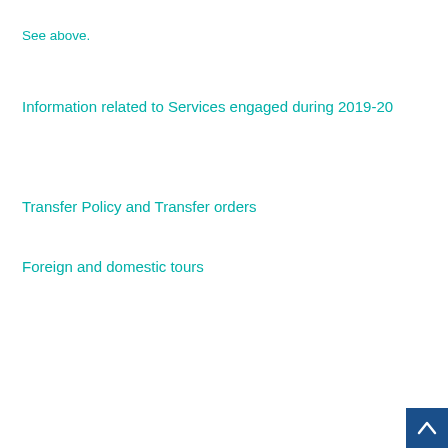See above.
Information related to Services engaged during 2019-20
Transfer Policy and Transfer orders
Foreign and domestic tours